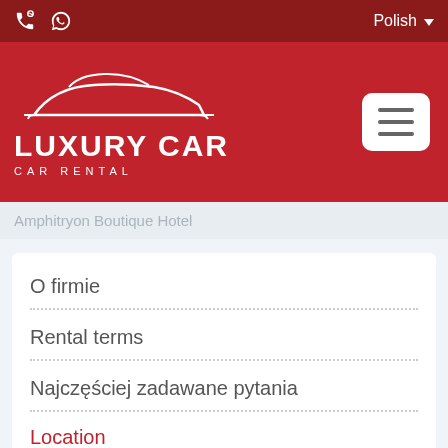Phone | WhatsApp | Polish
[Figure (logo): Luxury Car Car Rental logo with white car silhouette on red background, hamburger menu button]
Amphitryon Boutique Hotel
O firmie
Rental terms
Najczęściej zadawane pytania
Location